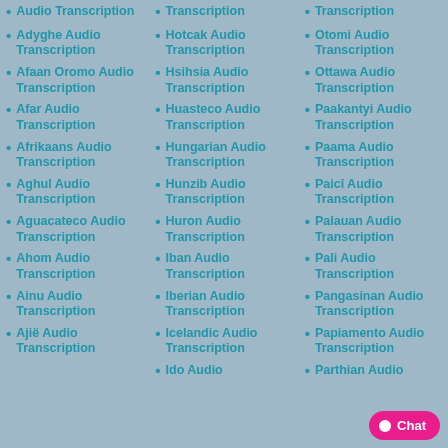Audio Transcription
Adyghe Audio Transcription
Afaan Oromo Audio Transcription
Afar Audio Transcription
Afrikaans Audio Transcription
Aghul Audio Transcription
Aguacateco Audio Transcription
Ahom Audio Transcription
Ainu Audio Transcription
Ajië Audio Transcription
Transcription
Hotcak Audio Transcription
Hsihsia Audio Transcription
Huasteco Audio Transcription
Hungarian Audio Transcription
Hunzib Audio Transcription
Huron Audio Transcription
Iban Audio Transcription
Iberian Audio Transcription
Icelandic Audio Transcription
Ido Audio
Transcription
Otomi Audio Transcription
Ottawa Audio Transcription
Paakantyi Audio Transcription
Paama Audio Transcription
Paicî Audio Transcription
Palauan Audio Transcription
Pali Audio Transcription
Pangasinan Audio Transcription
Papiamento Audio Transcription
Parthian Audio